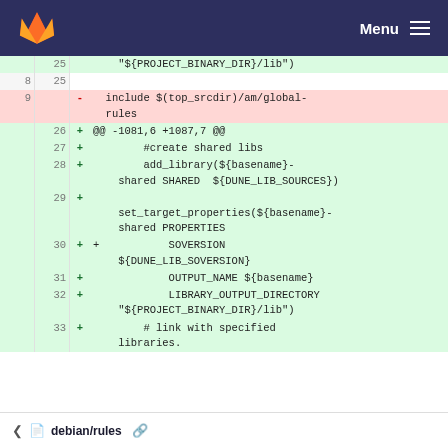GitLab navigation bar with logo and Menu
[Figure (screenshot): Code diff view showing removed line 9 with '- include $(top_srcdir)/am/global-rules' and added lines 25-33 with CMake library configuration code including add_library, set_target_properties, SOVERSION, OUTPUT_NAME, LIBRARY_OUTPUT_DIRECTORY, and a comment about linking with specified libraries.]
debian/rules